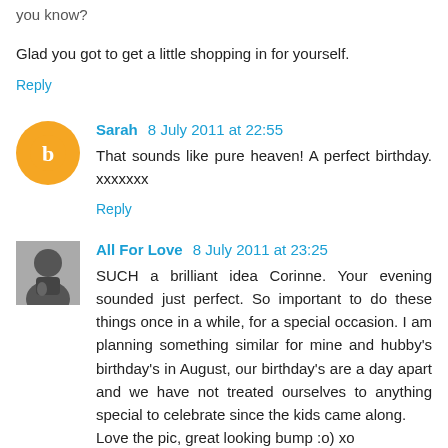when we're done because it all gets sad as it happens, you know?
Glad you got to get a little shopping in for yourself.
Reply
Sarah 8 July 2011 at 22:55
That sounds like pure heaven! A perfect birthday. xxxxxxx
Reply
All For Love 8 July 2011 at 23:25
SUCH a brilliant idea Corinne. Your evening sounded just perfect. So important to do these things once in a while, for a special occasion. I am planning something similar for mine and hubby's birthday's in August, our birthday's are a day apart and we have not treated ourselves to anything special to celebrate since the kids came along.
Love the pic, great looking bump :o) xo
Reply